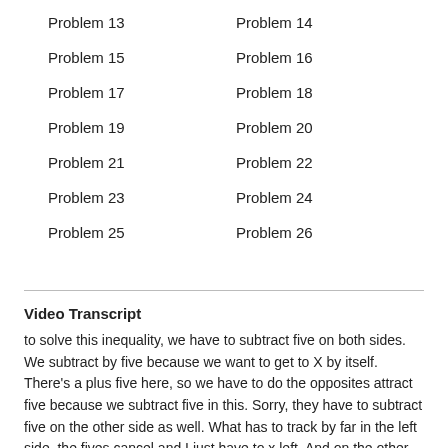Problem 13
Problem 14
Problem 15
Problem 16
Problem 17
Problem 18
Problem 19
Problem 20
Problem 21
Problem 22
Problem 23
Problem 24
Problem 25
Problem 26
Video Transcript
to solve this inequality, we have to subtract five on both sides. We subtract by five because we want to get to X by itself. There's a plus five here, so we have to do the opposites attract five because we subtract five in this. Sorry, they have to subtract five on the other side as well. What has to track by far in the left side, the fives cancel and I just have to x left. And on the other side, I have 17